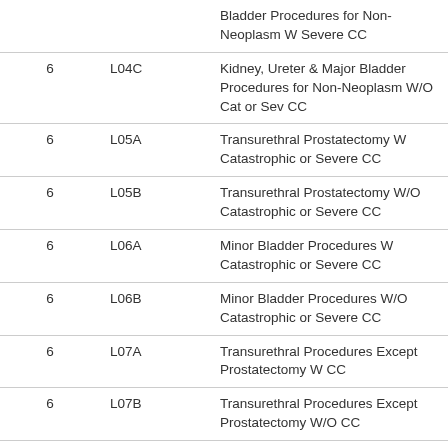|  |  |  |
| --- | --- | --- |
|  |  | Bladder Procedures for Non-Neoplasm W Severe CC |
| 6 | L04C | Kidney, Ureter & Major Bladder Procedures for Non-Neoplasm W/O Cat or Sev CC |
| 6 | L05A | Transurethral Prostatectomy W Catastrophic or Severe CC |
| 6 | L05B | Transurethral Prostatectomy W/O Catastrophic or Severe CC |
| 6 | L06A | Minor Bladder Procedures W Catastrophic or Severe CC |
| 6 | L06B | Minor Bladder Procedures W/O Catastrophic or Severe CC |
| 6 | L07A | Transurethral Procedures Except Prostatectomy W CC |
| 6 | L07B | Transurethral Procedures Except Prostatectomy W/O CC |
| 6 | L08A | Urethral Procedures W CC |
| 6 | L08B | Urethral Procedures W/O CC |
| 6 | L09A | Other Procedures for Kidney |